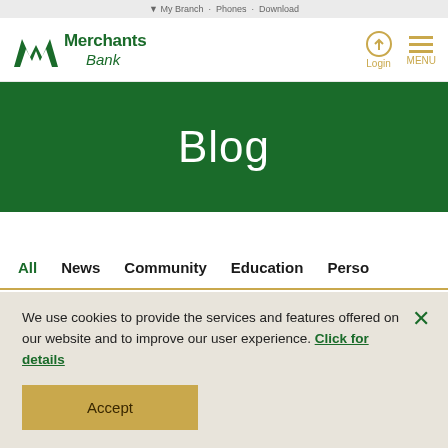My Branch · Phones · Download
[Figure (logo): Merchants Bank logo with stylized MW icon in dark green and text 'Merchants Bank']
Login  MENU
Blog
All
News
Community
Education
Perso…
We use cookies to provide the services and features offered on our website and to improve our user experience. Click for details
Accept